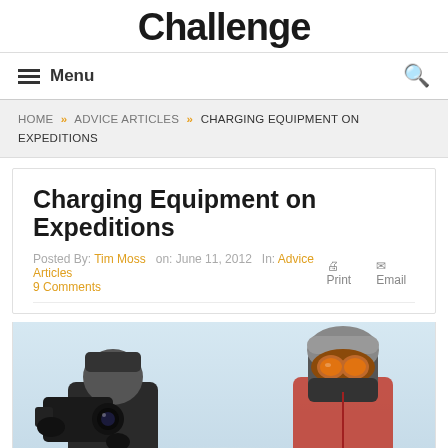Challenge
Menu
HOME » ADVICE ARTICLES » CHARGING EQUIPMENT ON EXPEDITIONS
Charging Equipment on Expeditions
Posted By: Tim Moss  on: June 11, 2012  In: Advice Articles  9 Comments  Print  Email
[Figure (photo): Two people in snowy/winter outdoor conditions. Left figure holds a camera with gloved hands. Right figure wears orange-tinted ski goggles and a grey winter hat with face covering.]